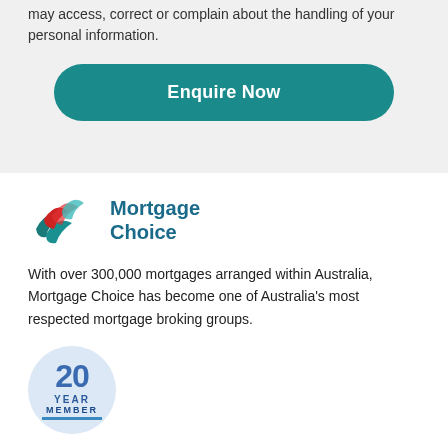may access, correct or complain about the handling of your personal information.
[Figure (other): Teal rounded rectangle button with white bold text 'Enquire Now']
[Figure (logo): Mortgage Choice logo with stylized red and teal wave/leaf shapes and bold teal text 'Mortgage Choice']
With over 300,000 mortgages arranged within Australia, Mortgage Choice has become one of Australia's most respected mortgage broking groups.
[Figure (other): Circular badge showing '20 YEAR MEMBER' in blue tones with a horizontal teal underline]